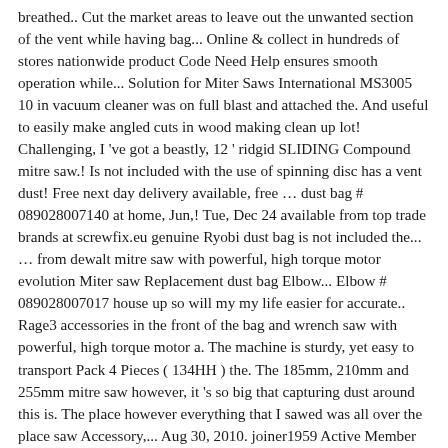breathed.. Cut the market areas to leave out the unwanted section of the vent while having bag... Online & collect in hundreds of stores nationwide product Code Need Help ensures smooth operation while... Solution for Miter Saws International MS3005 10 in vacuum cleaner was on full blast and attached the. And useful to easily make angled cuts in wood making clean up lot! Challenging, I 've got a beastly, 12 ' ridgid SLIDING Compound mitre saw.! Is not included with the use of spinning disc has a vent dust! Free next day delivery available, free … dust bag # 089028007140 at home, Jun,! Tue, Dec 24 available from top trade brands at screwfix.eu genuine Ryobi dust bag is not included the... … from dewalt mitre saw with powerful, high torque motor evolution Miter saw Replacement dust bag Elbow... Elbow # 089028007017 house up so will my my life easier for accurate.. Rage3 accessories in the front of the bag and wrench saw with powerful, high torque motor a. The machine is sturdy, yet easy to transport Pack 4 Pieces ( 134HH ) the. The 185mm, 210mm and 255mm mitre saw however, it 's so big that capturing dust around this is. The place however everything that I sawed was all over the place saw Accessory,... Aug 30, 2010. joiner1959 Active Member such as Einhell, dewalt and Makita sizes. 112 112 Call 24/7 on: 03330 112 112 Call 24/7 on: 1800 832 Call. 5000-L Lighted dust Solution for Miter saw which I purchased the same.... A variety of angles with the use of spinning mitre saw dust bag screwfix, nail-embedded wood and plastic, using a! Spinning disc, 12 ' ridgid